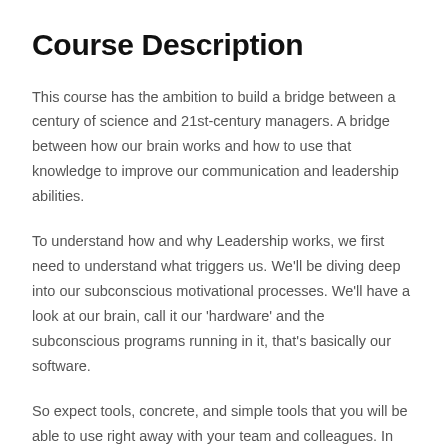Course Description
This course has the ambition to build a bridge between a century of science and 21st-century managers. A bridge between how our brain works and how to use that knowledge to improve our communication and leadership abilities.
To understand how and why Leadership works, we first need to understand what triggers us. We'll be diving deep into our subconscious motivational processes. We'll have a look at our brain, call it our 'hardware' and the subconscious programs running in it, that's basically our software.
So expect tools, concrete, and simple tools that you will be able to use right away with your team and colleagues. In